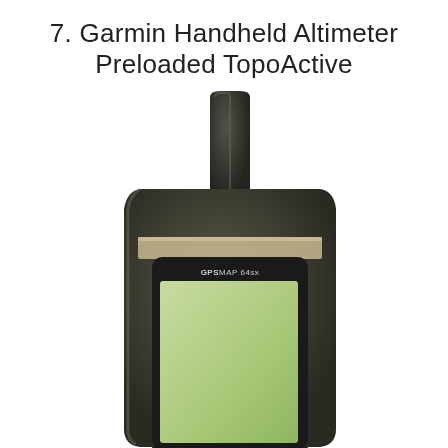7. Garmin Handheld Altimeter Preloaded TopoActive
[Figure (photo): Garmin GPSMAP 64sx handheld GPS device with altimeter, showing a TopoActive map on its screen with mountain icons, trail markings, contour lines at 1000 and 2000 elevation, a blue navigation arrow, and a 2mi scale bar. The device has a dark olive/grey body with a large antenna at the top.]